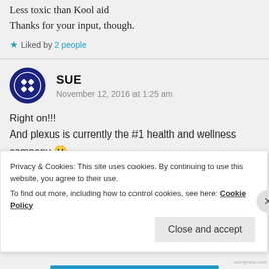Less toxic than Kool aid
Thanks for your input, though.
Liked by 2 people
SUE
November 12, 2016 at 1:25 am
Right on!!!
And plexus is currently the #1 health and wellness company 🙂
Like
Privacy & Cookies: This site uses cookies. By continuing to use this website, you agree to their use.
To find out more, including how to control cookies, see here: Cookie Policy
Close and accept